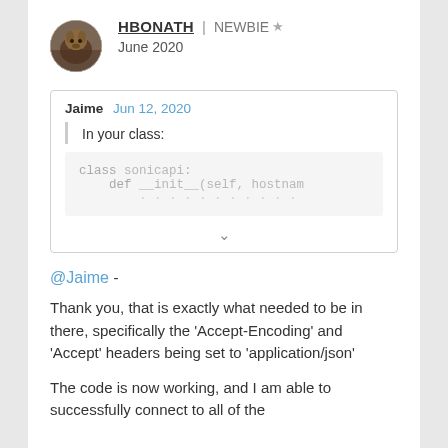HBONATH | NEWBIE ★
June 2020
Jaime  Jun 12, 2020
In your class:
class sonicapi:
    def __init__(self, hostnam
@Jaime -

Thank you, that is exactly what needed to be in there, specifically the 'Accept-Encoding' and 'Accept' headers being set to 'application/json'

The code is now working, and I am able to successfully connect to all of the